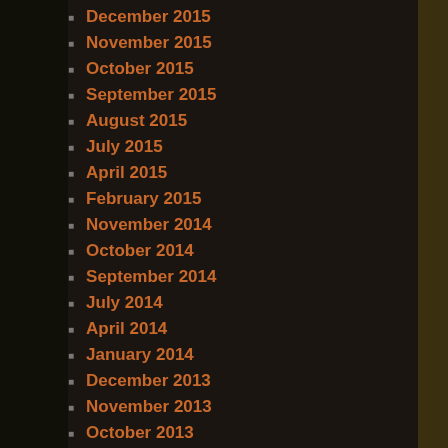December 2015
November 2015
October 2015
September 2015
August 2015
July 2015
April 2015
February 2015
November 2014
October 2014
September 2014
July 2014
April 2014
January 2014
December 2013
November 2013
October 2013
September 2013
August 2013
July 2013
June 2013
May 2013